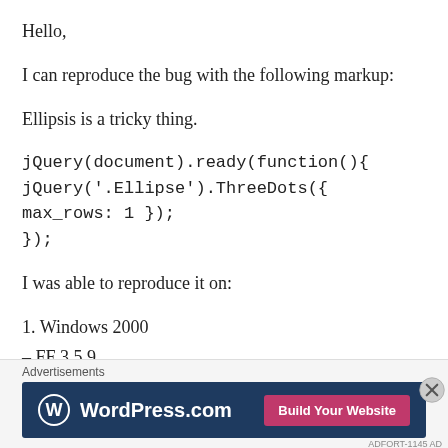Hello,
I can reproduce the bug with the following markup:
Ellipsis is a tricky thing.
jQuery(document).ready(function(){
jQuery('.Ellipse').ThreeDots({ max_rows: 1 });
});
I was able to reproduce it on:
1. Windows 2000
– FF 3.5.9
[Figure (infographic): WordPress.com advertisement banner with logo and 'Build Your Website' button]
Advertisements